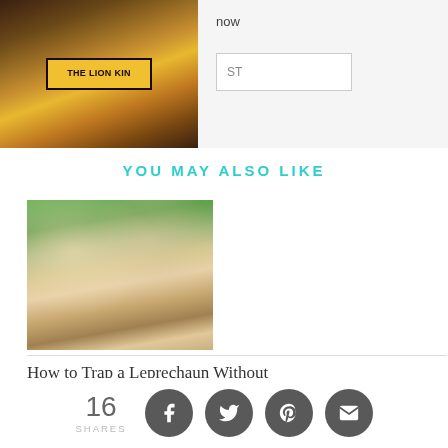[Figure (photo): Top partial image showing a hand holding The Lion King program/poster, partially cropped. Right side shows a web UI with 'now' text and an input field with 'ST' placeholder.]
YOU MAY ALSO LIKE
[Figure (photo): Photo of two children — a girl in denim jacket and a toddler in white onesie — looking at something in a glass mason jar outdoors.]
How to Trap a Leprechaun Without Losing Your Sanity
[Figure (photo): Partially visible second article photo at bottom, showing red/colorful elements, cropped.]
16 SHARES